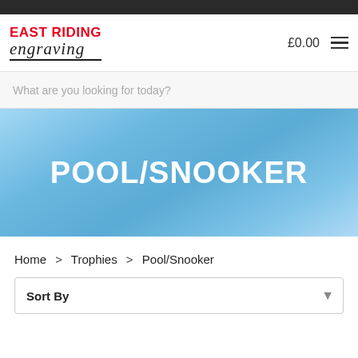East Riding Engraving — £0.00 — menu
What are you looking for today?
POOL/SNOOKER
Home > Trophies > Pool/Snooker
Sort By